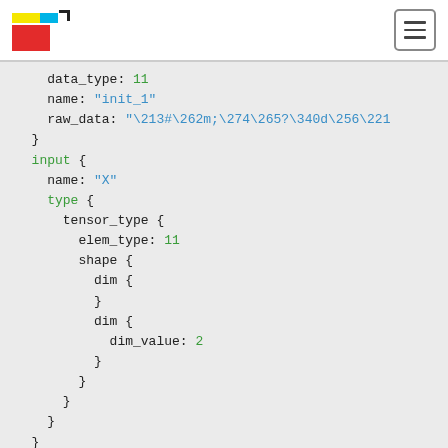[Figure (logo): Colored logo with yellow, cyan, and red blocks and a corner bracket, plus a hamburger menu button on the right]
data_type: 11
name: "init_1"
raw_data: "\213#\262m;\274\265?\340d\256\221"
}
input {
  name: "X"
  type {
    tensor_type {
      elem_type: 11
      shape {
        dim {
        }
        dim {
          dim_value: 2
        }
      }
    }
  }
}
output {
  name: "variable"
  type {
    tensor_type {
      elem_type: 11